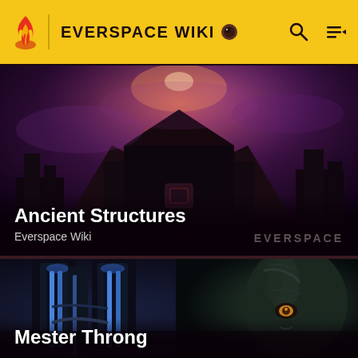EVERSPACE WIKI
[Figure (screenshot): Ancient Structures - dark sci-fi game screenshot showing large geometric alien structure against a purple nebula background with dramatic lighting]
Ancient Structures
Everspace Wiki
[Figure (screenshot): Mester Throng - dark sci-fi game screenshot showing blue-lit cylindrical machinery on left and an alien creature face on the right side]
Mester Throng